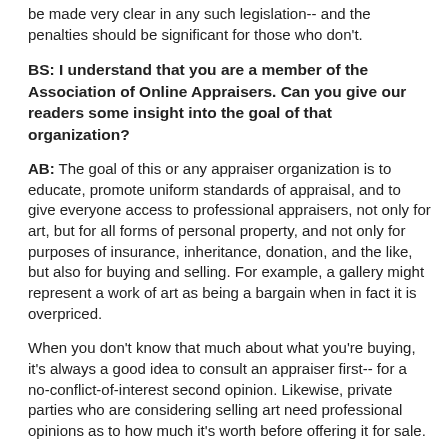be made very clear in any such legislation-- and the penalties should be significant for those who don't.
BS: I understand that you are a member of the Association of Online Appraisers. Can you give our readers some insight into the goal of that organization?
AB: The goal of this or any appraiser organization is to educate, promote uniform standards of appraisal, and to give everyone access to professional appraisers, not only for art, but for all forms of personal property, and not only for purposes of insurance, inheritance, donation, and the like, but also for buying and selling. For example, a gallery might represent a work of art as being a bargain when in fact it is overpriced.
When you don't know that much about what you're buying, it's always a good idea to consult an appraiser first-- for a no-conflict-of-interest second opinion. Likewise, private parties who are considering selling art need professional opinions as to how much it's worth before offering it for sale.